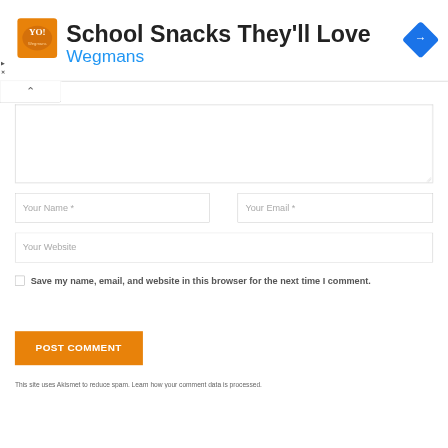[Figure (screenshot): Advertisement banner for Wegmans 'School Snacks They'll Love' with orange logo, title text, and blue navigation arrow icon]
Your Name *
Your Email *
Your Website
Save my name, email, and website in this browser for the next time I comment.
POST COMMENT
This site uses Akismet to reduce spam. Learn how your comment data is processed.